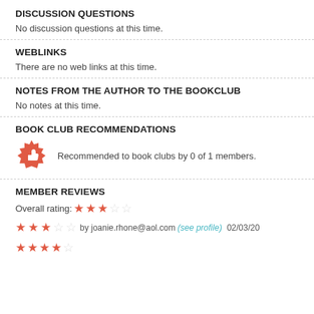DISCUSSION QUESTIONS
No discussion questions at this time.
WEBLINKS
There are no web links at this time.
NOTES FROM THE AUTHOR TO THE BOOKCLUB
No notes at this time.
BOOK CLUB RECOMMENDATIONS
Recommended to book clubs by 0 of 1 members.
MEMBER REVIEWS
Overall rating: 3 out of 5 stars
3 stars by joanie.rhone@aol.com (see profile) 02/03/20